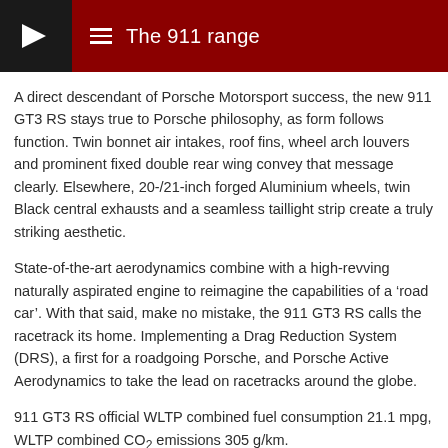The 911 range
A direct descendant of Porsche Motorsport success, the new 911 GT3 RS stays true to Porsche philosophy, as form follows function. Twin bonnet air intakes, roof fins, wheel arch louvers and prominent fixed double rear wing convey that message clearly. Elsewhere, 20-/21-inch forged Aluminium wheels, twin Black central exhausts and a seamless taillight strip create a truly striking aesthetic.
State-of-the-art aerodynamics combine with a high-revving naturally aspirated engine to reimagine the capabilities of a ‘road car’. With that said, make no mistake, the 911 GT3 RS calls the racetrack its home. Implementing a Drag Reduction System (DRS), a first for a roadgoing Porsche, and Porsche Active Aerodynamics to take the lead on racetracks around the globe.
911 GT3 RS official WLTP combined fuel consumption 21.1 mpg, WLTP combined CO₂ emissions 305 g/km.